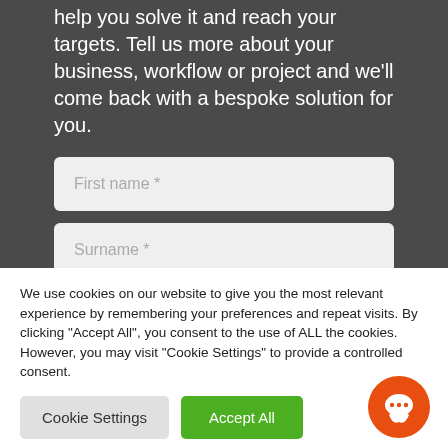help you solve it and reach your targets. Tell us more about your business, workflow or project and we'll come back with a bespoke solution for you.
First name *
Surname *
We use cookies on our website to give you the most relevant experience by remembering your preferences and repeat visits. By clicking "Accept All", you consent to the use of ALL the cookies. However, you may visit "Cookie Settings" to provide a controlled consent.